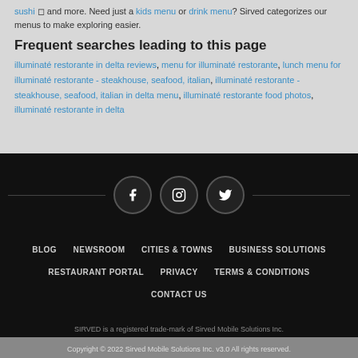sushi ◻ and more. Need just a kids menu or drink menu? Sirved categorizes our menus to make exploring easier.
Frequent searches leading to this page
illuminaté restorante in delta reviews, menu for illuminaté restorante, lunch menu for illuminaté restorante - steakhouse, seafood, italian, illuminaté restorante - steakhouse, seafood, italian in delta menu, illuminaté restorante food photos, illuminaté restorante in delta
[Figure (illustration): Social media icons row: Facebook, Instagram, Twitter circles with horizontal lines on each side]
BLOG   NEWSROOM   CITIES & TOWNS   BUSINESS SOLUTIONS   RESTAURANT PORTAL   PRIVACY   TERMS & CONDITIONS   CONTACT US
SIRVED is a registered trade-mark of Sirved Mobile Solutions Inc.
Copyright © 2022 Sirved Mobile Solutions Inc. v3.0 All rights reserved.